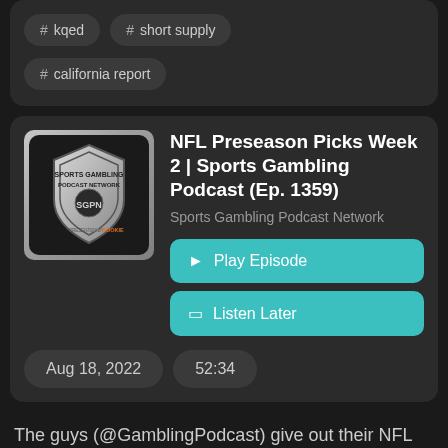# kqed
# short supply
# california report
NFL Preseason Picks Week 2 | Sports Gambling Podcast (Ep. 1359)
Sports Gambling Podcast Network
▶ Play Episode
🔖 Listen Later
Aug 18, 2022
52:34
The guys (@GamblingPodcast) give out their NFL preseason week 2 picks. Sean and Ryan walk through the entire card. Some may say they dominate it.